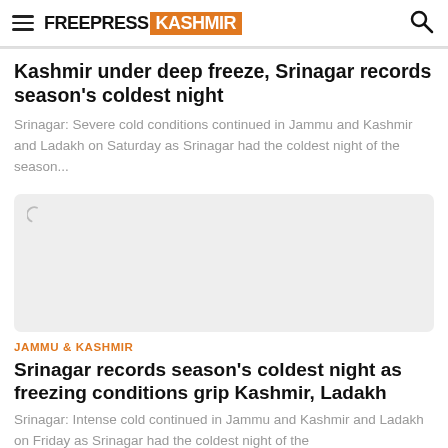FREEPRESS KASHMIR
Kashmir under deep freeze, Srinagar records season's coldest night
Srinagar: Severe cold conditions continued in Jammu and Kashmir and Ladakh on Saturday as Srinagar had the coldest night of the season...
[Figure (photo): Loading placeholder for article image (grey rectangle with loading arc)]
JAMMU & KASHMIR
Srinagar records season's coldest night as freezing conditions grip Kashmir, Ladakh
Srinagar: Intense cold continued in Jammu and Kashmir and Ladakh on Friday as Srinagar had the coldest night of the